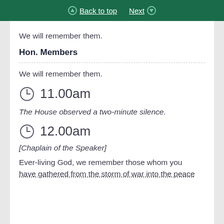Back to top  Next
We will remember them.
Hon. Members
We will remember them.
11.00am
The House observed a two-minute silence.
12.00am
[Chaplain of the Speaker]
Ever-living God, we remember those whom you have gathered from the storm of war into the peace…